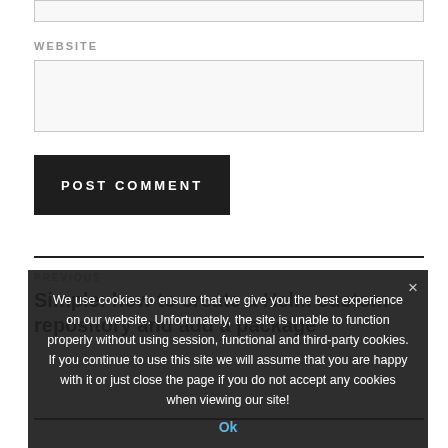[input field top]
WEBSITE
[website input field]
POST COMMENT
PREVIOUS
Simple: how to create a Helm custom repository and add a package
We use cookies to ensure that we give you the best experience on our website. Unfortunately, the site is unable to function properly without using session, functional and third-party cookies. If you continue to use this site we will assume that you are happy with it or just close the page if you do not accept any cookies when viewing our site!
Ok